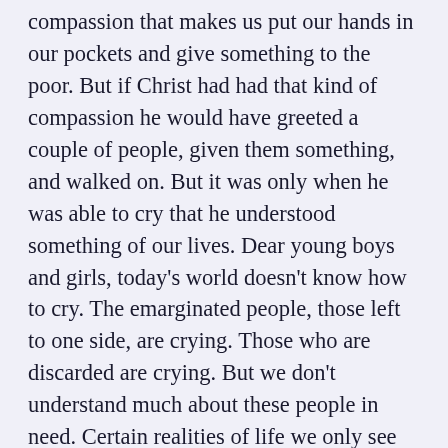compassion that makes us put our hands in our pockets and give something to the poor. But if Christ had had that kind of compassion he would have greeted a couple of people, given them something, and walked on. But it was only when he was able to cry that he understood something of our lives. Dear young boys and girls, today's world doesn't know how to cry. The emarginated people, those left to one side, are crying. Those who are discarded are crying. But we don't understand much about these people in need. Certain realities of life we only see through eyes cleansed by our tears. I invite each one here to ask yourself: have I learned how to weep? Have I learned how to weep for the emarginated or for a street child who has a drug problem or for an abused child? Unfortunately there are those who cry because they want something else...